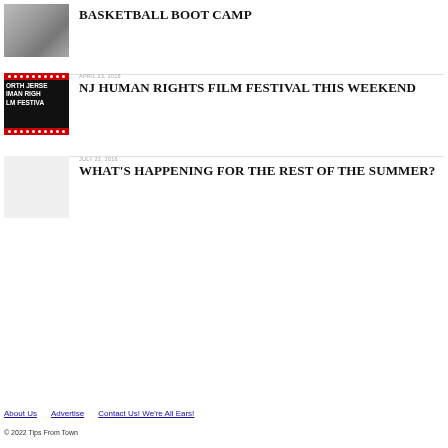[Figure (photo): Black and white photo of basketball players in a gym]
BASKETBALL BOOT CAMP
[Figure (photo): North Jersey Human Rights Film Festival logo/banner with red dots and white text on black background]
APRIL 23, 2018
NJ HUMAN RIGHTS FILM FESTIVAL THIS WEEKEND
JULY 22, 2016
WHAT'S HAPPENING FOR THE REST OF THE SUMMER?
About Us   Advertise   Contact Us! We're All Ears!
© 2022 Tips From Town